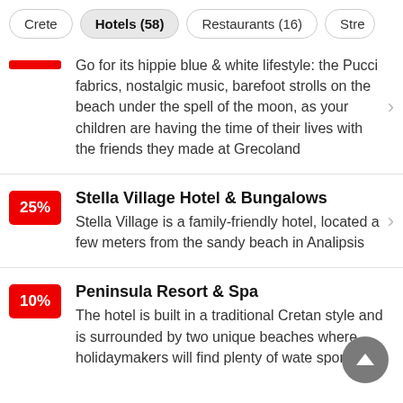Crete | Hotels (58) | Restaurants (16) | Stre...
Go for its hippie blue & white lifestyle: the Pucci fabrics, nostalgic music, barefoot strolls on the beach under the spell of the moon, as your children are having the time of their lives with the friends they made at Grecoland
Stella Village Hotel & Bungalows
Stella Village is a family-friendly hotel, located a few meters from the sandy beach in Analipsis
Peninsula Resort & Spa
The hotel is built in a traditional Cretan style and is surrounded by two unique beaches where holidaymakers will find plenty of water sports